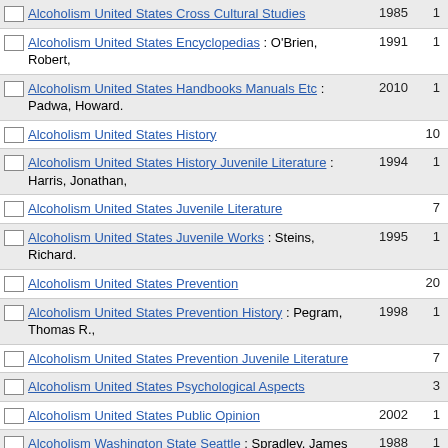Alcoholism United States Cross Cultural Studies 1985 1
Alcoholism United States Encyclopedias : O'Brien, Robert, 1991 1
Alcoholism United States Handbooks Manuals Etc : Padwa, Howard. 2010 1
Alcoholism United States History 10
Alcoholism United States History Juvenile Literature : Harris, Jonathan, 1994 1
Alcoholism United States Juvenile Literature 7
Alcoholism United States Juvenile Works : Steins, Richard. 1995 1
Alcoholism United States Prevention 20
Alcoholism United States Prevention History : Pegram, Thomas R., 1998 1
Alcoholism United States Prevention Juvenile Literature 7
Alcoholism United States Psychological Aspects 3
Alcoholism United States Public Opinion 2002 1
Alcoholism Washington State Seattle : Spradley, James P. 1988 1
Alcoholism Women Treatment : Carr, Allen, 2016 1